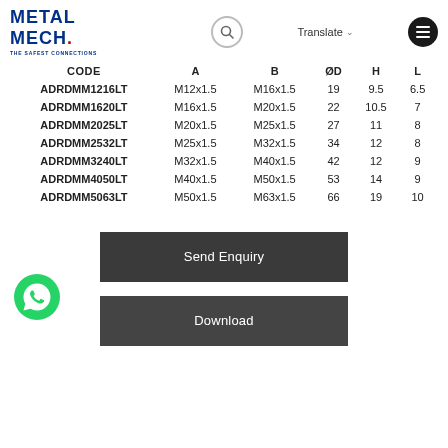[Figure (logo): Metal Mech logo with text 'THE SAFEST CONNECTIONS']
| CODE | A | B | ØD | H | L |
| --- | --- | --- | --- | --- | --- |
| ADRDMM1216LT | M12x1.5 | M16x1.5 | 19 | 9.5 | 6.5 |
| ADRDMM1620LT | M16x1.5 | M20x1.5 | 22 | 10.5 | 7 |
| ADRDMM2025LT | M20x1.5 | M25x1.5 | 27 | 11 | 8 |
| ADRDMM2532LT | M25x1.5 | M32x1.5 | 34 | 12 | 8 |
| ADRDMM3240LT | M32x1.5 | M40x1.5 | 42 | 12 | 9 |
| ADRDMM4050LT | M40x1.5 | M50x1.5 | 53 | 14 | 9 |
| ADRDMM5063LT | M50x1.5 | M63x1.5 | 66 | 19 | 10 |
Send Enquiry
Download